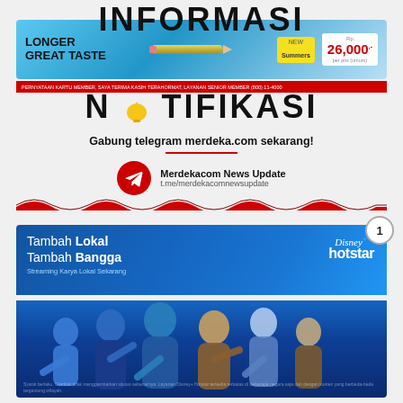INFORMASI
[Figure (photo): Advertisement banner: Longer Great Taste with pencil image, price Rp 26,000]
NOTIFIKASI
Gabung telegram merdeka.com sekarang!
[Figure (logo): Telegram icon (red circle with white paper plane)]
Merdekacom News Update
t.me/merdekacomnewsupdate
[Figure (photo): Disney+ Hotstar advertisement: Tambah Lokal Tambah Bangga, Streaming Karya Lokal Sekarang. Film indonesia gilu-gilu aja? Kata siapaaa? Group of Indonesian actors/characters posing.]